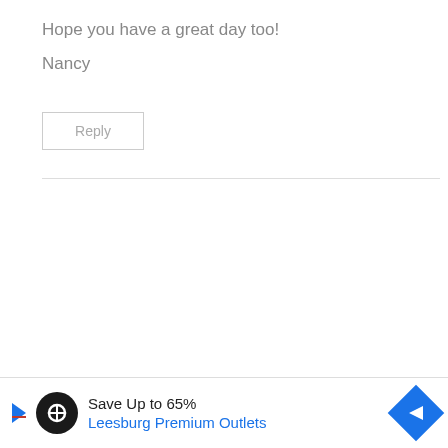Hope you have a great day too!
Nancy
Reply
[Figure (infographic): Advertisement banner: Save Up to 65% Leesburg Premium Outlets with logo and arrow icon]